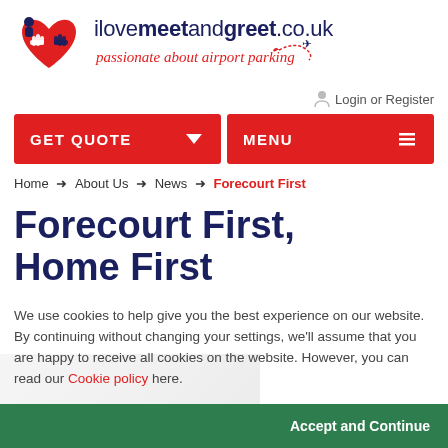[Figure (logo): ilovemeetandgreet.co.uk logo with heart-handshake icon and tagline 'passionate about airport parking']
Login or Register
GET QUOTE
MENU
Home → About Us → News → Forecourt First
Forecourt First, Home First
We use cookies to help give you the best experience on our website. By continuing without changing your settings, we'll assume that you are happy to receive all cookies on the website. However, you can read our Cookie policy here.
Accept and Continue